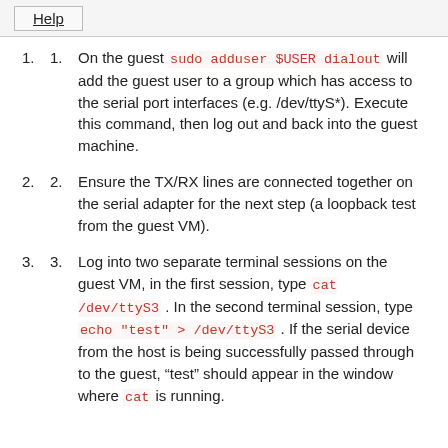Help
On the guest sudo adduser $USER dialout will add the guest user to a group which has access to the serial port interfaces (e.g. /dev/ttyS*). Execute this command, then log out and back into the guest machine.
Ensure the TX/RX lines are connected together on the serial adapter for the next step (a loopback test from the guest VM).
Log into two separate terminal sessions on the guest VM, in the first session, type cat /dev/ttyS3 . In the second terminal session, type echo "test" > /dev/ttyS3 . If the serial device from the host is being successfully passed through to the guest, “test” should appear in the window where cat is running.